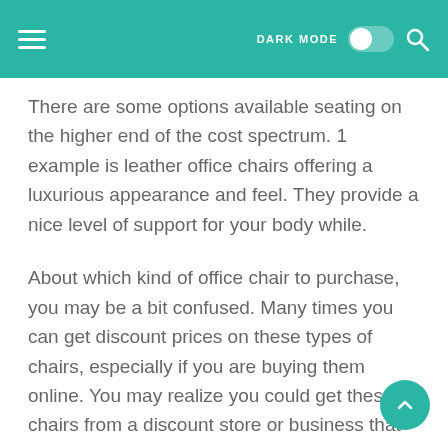DARK MODE [toggle]
There are some options available seating on the higher end of the cost spectrum. 1 example is leather office chairs offering a luxurious appearance and feel. They provide a nice level of support for your body while.
About which kind of office chair to purchase, you may be a bit confused. Many times you can get discount prices on these types of chairs, especially if you are buying them online. You may realize you could get these chairs from a discount store or business that carries the office furniture that you need.